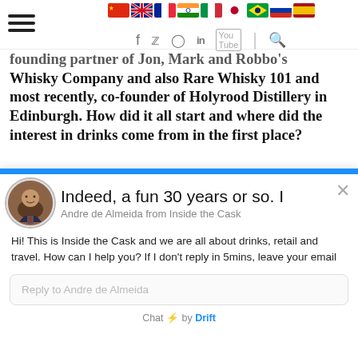Navigation header with hamburger menu, country flags, and social media icons
founding partner of Jon, Mark and Robbo's Whisky Company and also Rare Whisky 101 and most recently, co-founder of Holyrood Distillery in Edinburgh. How did it all start and where did the interest in drinks come from in the first place?
[Figure (screenshot): Chat widget overlay with profile photo of Andre de Almeida, blue highlight bar, agent name 'Andre de Almeida from Inside the Cask', message text, reply input box, and 'Chat by Drift' footer]